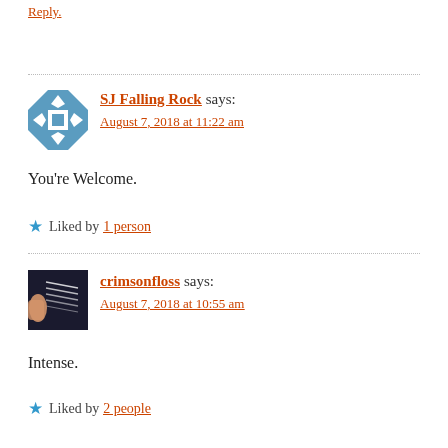Reply.
SJ Falling Rock says:
August 7, 2018 at 11:22 am
You're Welcome.
Liked by 1 person
crimsonfloss says:
August 7, 2018 at 10:55 am
Intense.
Liked by 2 people